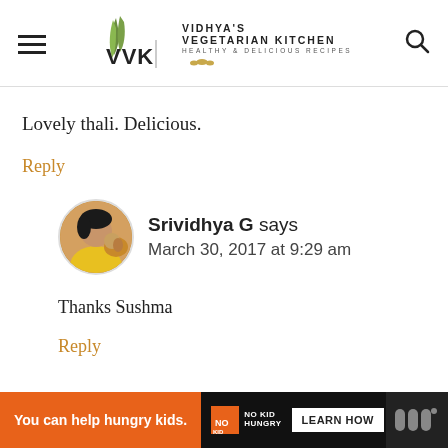Vidhya's Vegetarian Kitchen — Healthy & Delicious Recipes
Lovely thali. Delicious.
Reply
Srividhya G says
March 30, 2017 at 9:29 am
Thanks Sushma
Reply